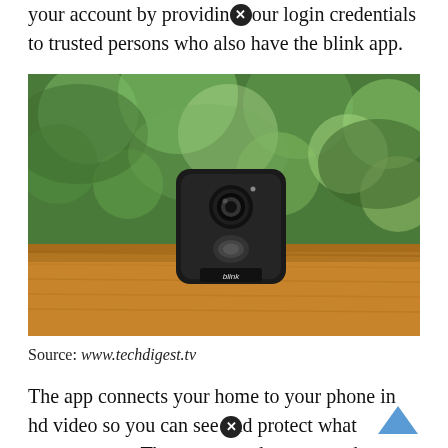your account by providing your login credentials to trusted persons who also have the blink app.
[Figure (photo): A Blink outdoor security camera (black, compact, square-shaped with lens and motion sensor) sitting on a wooden deck railing against a blurred green foliage background.]
Source: www.techdigest.tv
The app connects your home to your phone in hd video so you can see and protect what matters most. Then connect the cameras by clicking on the